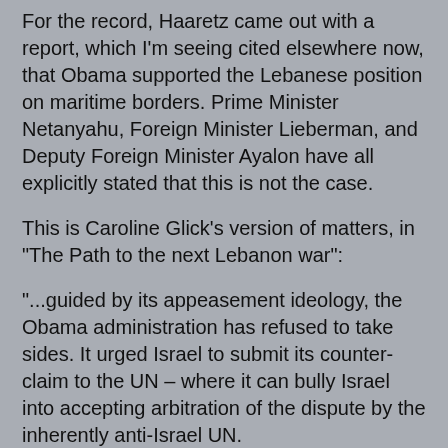For the record, Haaretz came out with a report, which I'm seeing cited elsewhere now, that Obama supported the Lebanese position on maritime borders. Prime Minister Netanyahu, Foreign Minister Lieberman, and Deputy Foreign Minister Ayalon have all explicitly stated that this is not the case.
This is Caroline Glick's version of matters, in "The Path to the next Lebanon war":
"...guided by its appeasement ideology, the Obama administration has refused to take sides. It urged Israel to submit its counter-claim to the UN – where it can bully Israel into accepting arbitration of the dispute by the inherently anti-Israel UN.
"More generally, by refusing to take sides, the US is in fact siding with its enemy Iran and Iran's proxy Hezbollah against its ally Israel.
"According to media reports, the Obama administration claims that by acting in this manner, it is seeking to prevent a flare-up of hostilities. That is the administration's disclaimer, the